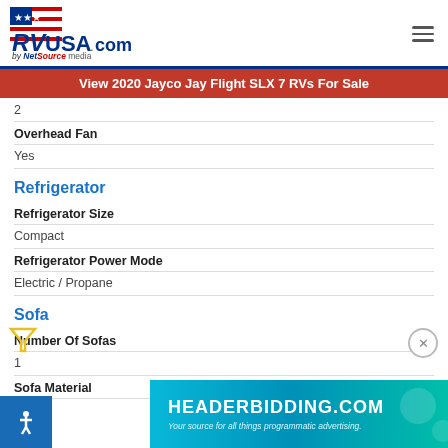[Figure (logo): RVUSA.com by NetSource media logo with American flag graphic]
View 2020 Jayco Jay Flight SLX 7 RVs For Sale
2
Overhead Fan
Yes
Refrigerator
Refrigerator Size
Compact
Refrigerator Power Mode
Electric / Propane
Sofa
Number Of Sofas
1
Sofa Material
Vinyl
[Figure (infographic): HEADERBIDDING.COM advertisement banner - Your source for all things programmatic advertising.]